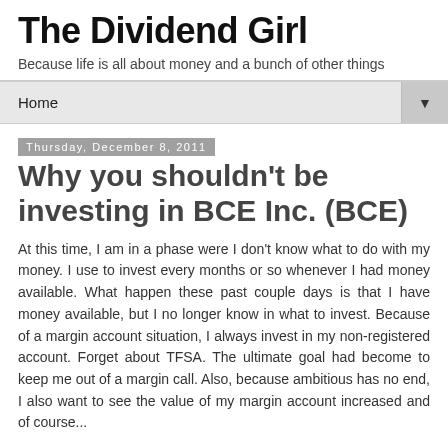The Dividend Girl
Because life is all about money and a bunch of other things
Home
Thursday, December 8, 2011
Why you shouldn't be investing in BCE Inc. (BCE)
At this time, I am in a phase were I don't know what to do with my money. I use to invest every months or so whenever I had money available. What happen these past couple days is that I have money available, but I no longer know in what to invest. Because of a margin account situation, I always invest in my non-registered account. Forget about TFSA. The ultimate goal had become to keep me out of a margin call. Also, because ambitious has no end, I also want to see the value of my margin account increased and of course...